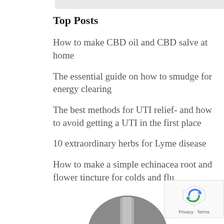Top Posts
How to make CBD oil and CBD salve at home
The essential guide on how to smudge for energy clearing
The best methods for UTI relief- and how to avoid getting a UTI in the first place
10 extraordinary herbs for Lyme disease
How to make a simple echinacea root and flower tincture for colds and flu
[Figure (photo): Partial photo of a person at the bottom of the page, showing top of head/shoulders in dark tones]